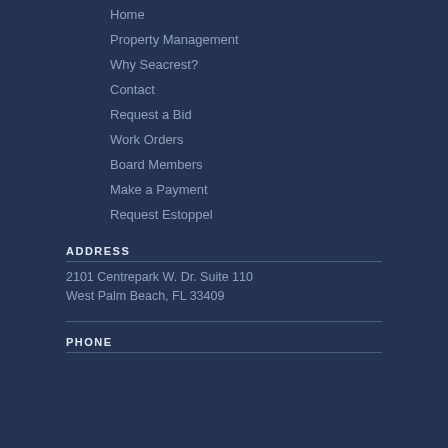Home
Property Management
Why Seacrest?
Contact
Request a Bid
Work Orders
Board Members
Make a Payment
Request Estoppel
ADDRESS
2101 Centrepark W. Dr. Suite 110
West Palm Beach, FL 33409
PHONE